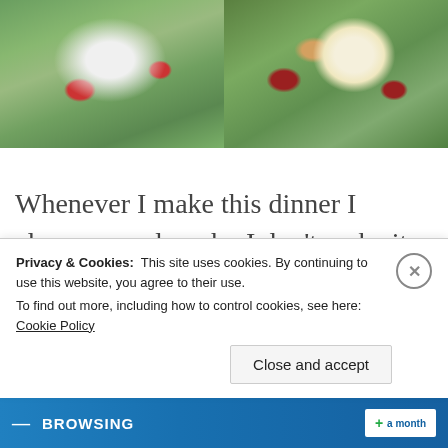[Figure (photo): Two side-by-side food photos showing Nicoise-style salads in bowls. Left photo shows a white plate with green beans, tomatoes, olives, red onion and other salad ingredients on a green background. Right photo shows a close-up of similar salad with a halved boiled egg, red onion, tomatoes, and greens.]
Whenever I make this dinner I always wonder why I don't make it more often. You literally have a delicious dinner in under 10 minutes which is what we want in the week, I know I do. Surprisingly filling for a salad. It's up to you if you add a few new potatoes or
Privacy & Cookies:  This site uses cookies. By continuing to use this website, you agree to their use.
To find out more, including how to control cookies, see here: Cookie Policy
Close and accept